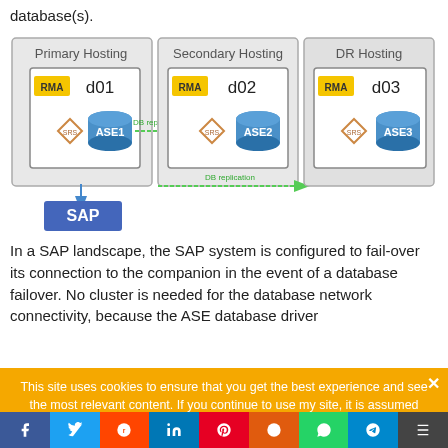database(s).
[Figure (schematic): SAP landscape diagram showing three hosting environments: Primary Hosting (d01, RMA, SRS, ASE1), Secondary Hosting (d02, RMA, SRS, ASE2), and DR Hosting (d03, RMA, SRS, ASE3). DB replication arrows connect Primary to Secondary and Secondary to DR. A SAP block connects to Primary Hosting.]
In a SAP landscape, the SAP system is configured to fail-over its connection to the companion in the event of a database failover. No cluster is needed for the database network connectivity, because the ASE database driver
This site uses cookies to ensure that you get the best experience and see the most relevant content. If you continue to use my site, it is assumed that you are accepting the use of said cookies. Yum yum yum.
I Accept   I do not Accept   Privacy policy